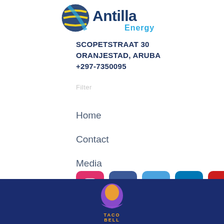[Figure (logo): Antilla Energy logo with globe icon and blue/cyan text]
SCOPETSTRAAT 30
ORANJESTAD, ARUBA
+297-7350095
Home
Contact
Media
[Figure (infographic): Social media icons row: Instagram, Facebook, Twitter, LinkedIn, YouTube, plus up-arrow]
[Figure (logo): Taco Bell logo on dark blue background at bottom of page]